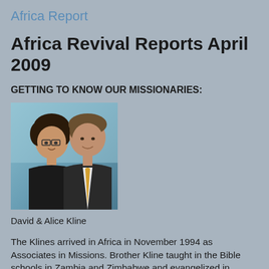Africa Report
Africa Revival Reports April 2009
GETTING TO KNOW OUR MISSIONARIES:
[Figure (photo): Photo of David and Alice Kline, a couple posing together. Woman on left with dark curly hair and glasses wearing black jacket; man on right with light hair wearing a suit and yellow tie.]
David & Alice Kline
The Klines arrived in Africa in November 1994 as Associates in Missions. Brother Kline taught in the Bible schools in Zambia and Zimbabwe and evangelized in different churches on weekends. Over 100 people were filled with the Holy